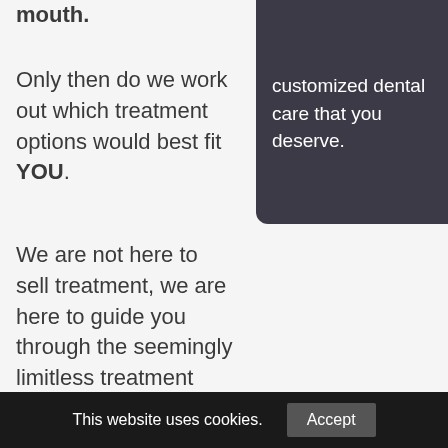mouth.
Only then do we work out which treatment options would best fit YOU.
customized dental care that you deserve.
We are not here to sell treatment, we are here to guide you through the seemingly limitless treatment options available to reach…
This website uses cookies. Accept